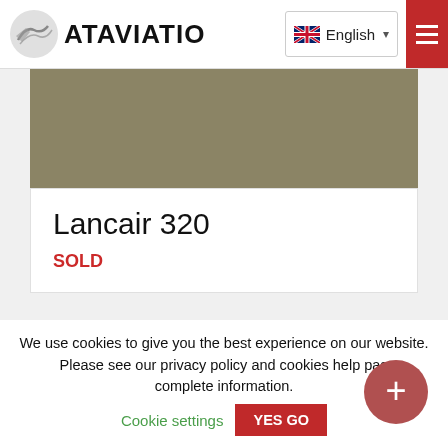ATAVIATION | English
[Figure (photo): Hero image area showing olive/tan color block, likely partial aircraft photograph]
Lancair 320
SOLD
ATAVIATION SALES Ltd is the largest and most trusted aircraft sales company, delivering quality aircraft worldwide with the best deals. Come and pay us a visit during these hours:
We use cookies to give you the best experience on our website. Please see our privacy policy and cookies help page for complete information.
Cookie settings
YES GO